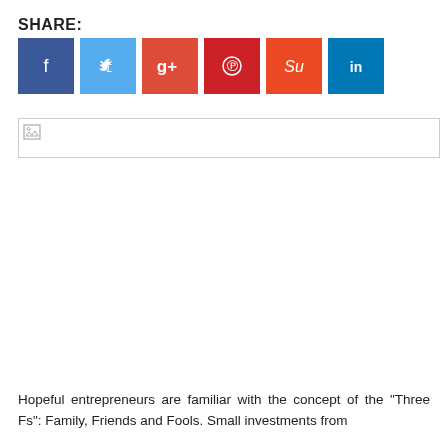SHARE:
[Figure (other): Social media share buttons: Facebook (blue), Twitter (light blue), Google+ (red-orange), Pinterest (red), StumbleUpon (orange-red), LinkedIn (blue)]
[Figure (other): Broken/placeholder image with small broken image icon in top-left corner, outlined with a light gray border]
Hopeful entrepreneurs are familiar with the concept of the "Three Fs": Family, Friends and Fools. Small investments from the...